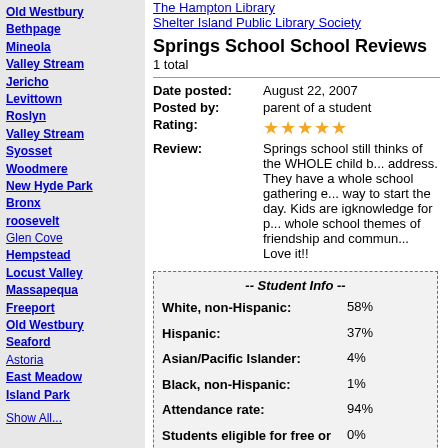Old Westbury
Bethpage
Mineola
Valley Stream
Jericho
Levittown
Roslyn
Valley Stream
Syosset
Woodmere
New Hyde Park
Bronx
roosevelt
Glen Cove
Hempstead
Locust Valley
Massapequa
Freeport
Old Westbury
Seaford
Astoria
East Meadow
Island Park
Show All...
The Hampton Library
Shelter Island Public Library Society
Springs School School Reviews
1 total
Date posted: August 22, 2007
Posted by: parent of a student
Rating: ★★★★★
Review: Springs school still thinks of the WHOLE child b... address. They have a whole school gathering e... way to start the day. Kids are igknowledge for p... whole school themes of friendship and commun... Love it!!
| Category | Value |
| --- | --- |
| White, non-Hispanic: | 58% |
| Hispanic: | 37% |
| Asian/Pacific Islander: | 4% |
| Black, non-Hispanic: | 1% |
| Attendance rate: | 94% |
| Students eligible for free or reduced-price lunch program: | 0% |
| IEP students: | 13% |